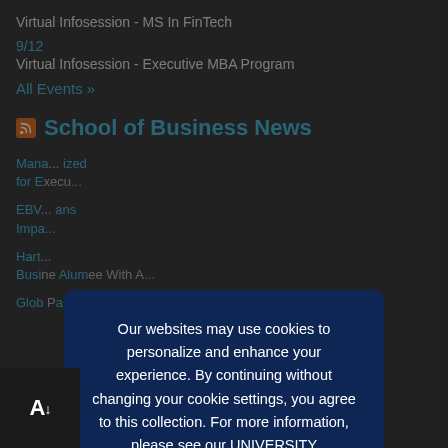Virtual Infosession - MS In FinTech
9/12
Virtual Infosession - Executive MBA Program
All Events »
School of Business News
Mana... ized for E...
EBV... ans Impa...
Hart... Busi...ne Alumee Who A...
Glob... Pandemic Are Nomination With Whitehead Pro... ity
Our websites may use cookies to personalize and enhance your experience. By continuing without changing your cookie settings, you agree to this collection. For more information, please see our UNIVERSITY WEBSITES PRIVACY NOTICE.
OK ✔
[Figure (logo): AV logo with downward arrow, white text on black background]